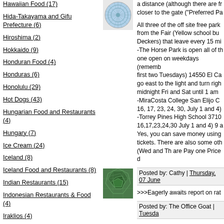Hawaiian Food (17)
Hida-Takayama and Gifu Prefecture (6)
Hiroshima (2)
Hokkaido (9)
Honduran Food (4)
Honduras (6)
Honolulu (29)
Hot Dogs (43)
Hungarian Food and Restaurants (4)
Hungary (7)
Ice Cream (24)
Iceland (8)
Iceland Food and Restaurants (8)
Indian Restaurants (15)
Indonesian Restaurants & Food (4)
Iraklios (4)
Iraqi Food and Restaurants (12)
Israel/Palestine (9)
[Figure (photo): Circular patterned icon/avatar image at top right]
a distance (although there are fr closer to the gate ("Preferred Pa
All three of the off site free park from the Fair (Yellow school bu Deckers) that leave every 15 mi -The Horse Park is open all of th one open on weekdays (rememb first two Tuesdays) 14550 El Ca go east to the light and turn righ midnight Fri and Sat until 1 am -MiraCosta College San Elijo C 16, 17, 23, 24, 30, July 1 and 4) -Torrey Pines High School 3710 16,17,23,24,30 July 1 and 4) 9 a Yes, you can save money using tickets. There are also some oth (Wed and Th are Pay one Price d
Posted by: Cathy | Thursday, 07 June
[Figure (photo): Green geometric/mosaic pattern avatar image]
>>>Eagerly awaits report on rat
Posted by: The Office Goat | Tuesda